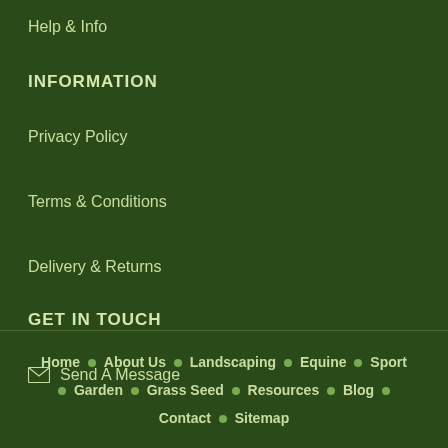Help & Info
INFORMATION
Privacy Policy
Terms & Conditions
Delivery & Returns
GET IN TOUCH
Send A Message
Home • About Us • Landscaping • Equine • Sport • Garden • Grass Seed • Resources • Blog • Contact • Sitemap